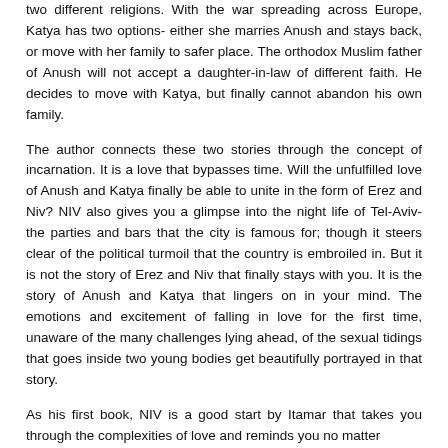two different religions. With the war spreading across Europe, Katya has two options- either she marries Anush and stays back, or move with her family to safer place. The orthodox Muslim father of Anush will not accept a daughter-in-law of different faith. He decides to move with Katya, but finally cannot abandon his own family.
The author connects these two stories through the concept of incarnation. It is a love that bypasses time. Will the unfulfilled love of Anush and Katya finally be able to unite in the form of Erez and Niv? NIV also gives you a glimpse into the night life of Tel-Aviv- the parties and bars that the city is famous for; though it steers clear of the political turmoil that the country is embroiled in. But it is not the story of Erez and Niv that finally stays with you. It is the story of Anush and Katya that lingers on in your mind. The emotions and excitement of falling in love for the first time, unaware of the many challenges lying ahead, of the sexual tidings that goes inside two young bodies get beautifully portrayed in that story.
As his first book, NIV is a good start by Itamar that takes you through the complexities of love and reminds you no matter